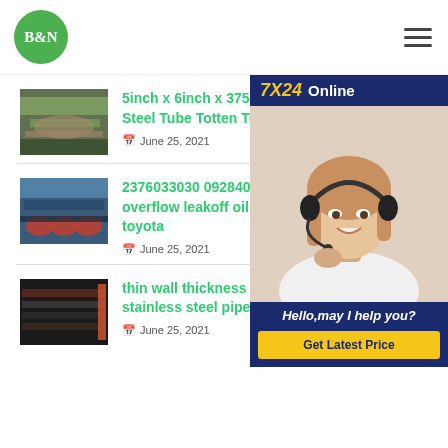B&N [logo] — navigation header with hamburger menu
[Figure (infographic): 7X24 Online chat panel with customer service representative photo, 'Hello,may I help you?' text and 'Get Latest Price' button]
5inch x 6inch x 375 R... Steel Tube Totten Tub... — June 25, 2021
2376033030 0928402... overflow leakoff oil pip... toyota — June 25, 2021
thin wall thickness tig welded stainless steel pipe tp304 — June 25, 2021